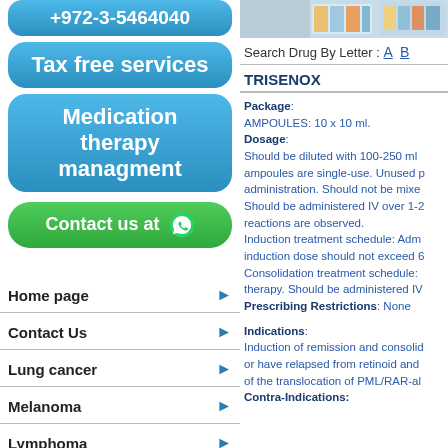+972-3-5464040
Tax free services
Medication therapy managment
Contact us at
Home page
Contact Us
Lung cancer
Melanoma
Lymphoma
[Figure (photo): Pharmacy shelves with medicine boxes]
Search Drug By Letter : A B
TRISENOX
Package: AMPOULES: 10 x 10 ml. Dosage: Should be diluted with 100-250 ml ampoules are single-use. Unused administration. Should not be mixed. Should be administered IV over 1-2 reactions are observed. Induction treatment schedule: Adm induction dose should not exceed 6 Consolidation treatment schedule: therapy. Should be administered IV. Prescribing Restrictions: None
Indications: Induction of remission and consolidation or have relapsed from retinoid and of the translocation of PML/RAR-alpha Contra-Indications: